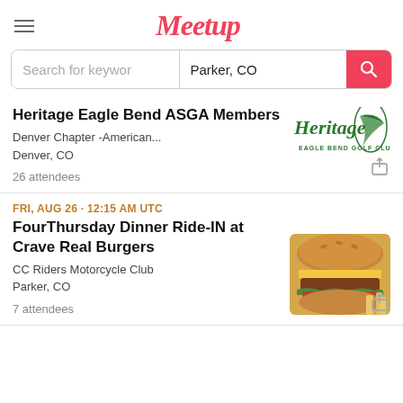Meetup
Search for keyword | Parker, CO
Heritage Eagle Bend ASGA Members
Denver Chapter -American...
Denver, CO
26 attendees
FRI, AUG 26 · 12:15 AM UTC
FourThursday Dinner Ride-IN at Crave Real Burgers
CC Riders Motorcycle Club
Parker, CO
7 attendees